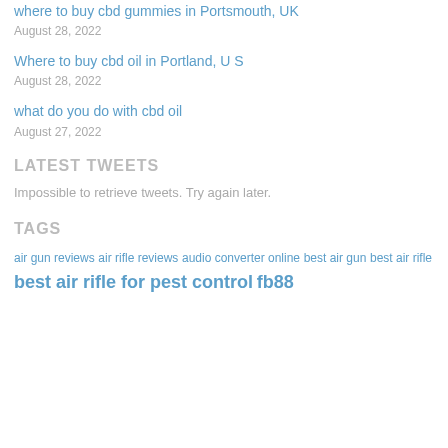where to buy cbd gummies in Portsmouth, UK
August 28, 2022
Where to buy cbd oil in Portland, U S
August 28, 2022
what do you do with cbd oil
August 27, 2022
LATEST TWEETS
Impossible to retrieve tweets. Try again later.
TAGS
air gun reviews air rifle reviews audio converter online best air gun best air rifle best air rifle for pest control fb88